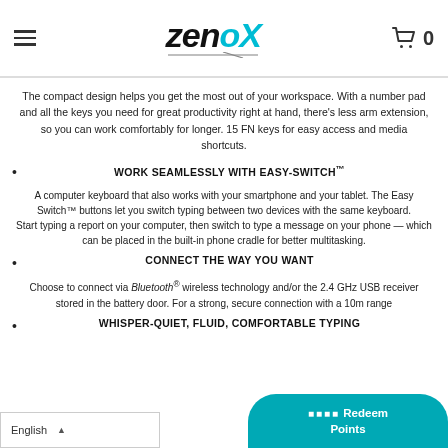ZenoX (logo with hamburger menu and cart icon showing 0)
The compact design helps you get the most out of your workspace. With a number pad and all the keys you need for great productivity right at hand, there's less arm extension, so you can work comfortably for longer. 15 FN keys for easy access and media shortcuts.
WORK SEAMLESSLY WITH EASY-SWITCH™
A computer keyboard that also works with your smartphone and your tablet. The Easy Switch™ buttons let you switch typing between two devices with the same keyboard.
Start typing a report on your computer, then switch to type a message on your phone — which can be placed in the built-in phone cradle for better multitasking.
CONNECT THE WAY YOU WANT
Choose to connect via Bluetooth® wireless technology and/or the 2.4 GHz USB receiver stored in the battery door. For a strong, secure connection with a 10m range
WHISPER-QUIET, FLUID, COMFORTABLE TYPING
English | Redeem Points